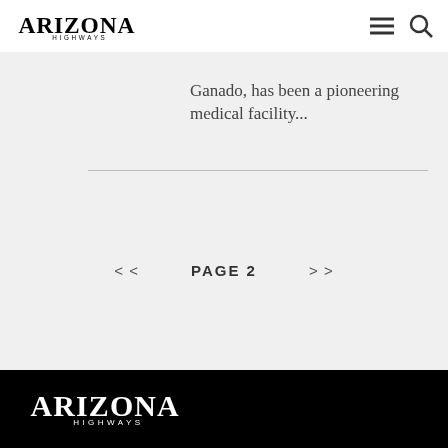Arizona Highways
Ganado, has been a pioneering medical facility...
< <   PAGE 2   > >
[Figure (logo): Arizona Highways logo in white on black background footer]